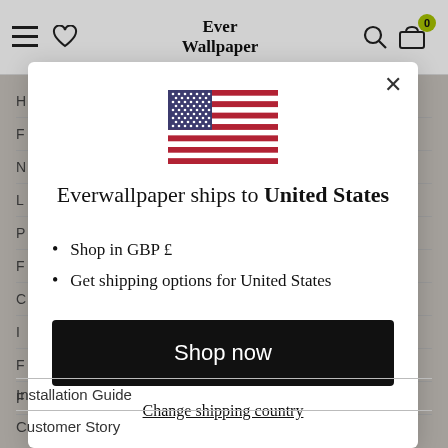Ever Wallpaper
[Figure (screenshot): Modal dialog on Ever Wallpaper website showing US flag, shipping message, bullet list, and action buttons]
Everwallpaper ships to United States
Shop in GBP £
Get shipping options for United States
Shop now
Change shipping country
Installation Guide
Customer Story